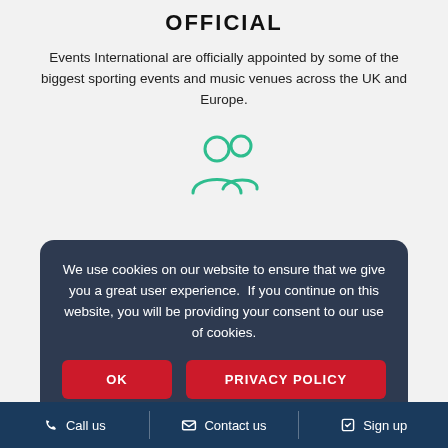OFFICIAL
Events International are officially appointed by some of the biggest sporting events and music venues across the UK and Europe.
[Figure (illustration): Green outline icon of two people (users/group icon)]
KNOWLEDGEABLE
Our staff are knowledgeable and there is a vast... knowledge... display of
We use cookies on our website to ensure that we give you a great user experience.  If you continue on this website, you will be providing your consent to our use of cookies.
OK
PRIVACY POLICY
Call us   Contact us   Sign up